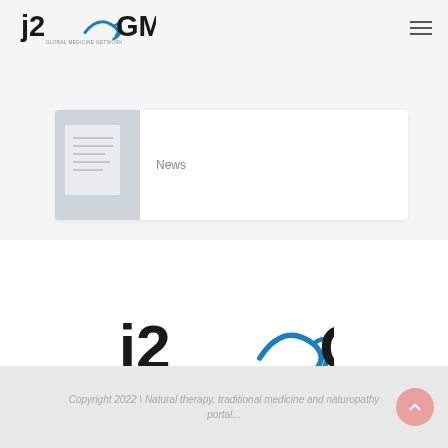[Figure (logo): j2CGMN logo in header, black text with blue swoosh]
News
[Figure (logo): j2CGMN logo centered in main white section, larger version with blue swoosh accent]
Copyright 2022 \ Natural therapy, traditional medicine and naturopathy portal...